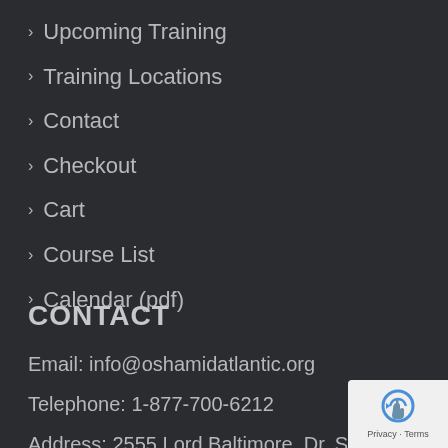› Upcoming Training
› Training Locations
› Contact
› Checkout
› Cart
› Course List
› Calendar (pdf)
CONTACT
Email: info@oshamidatlantic.org
Telephone: 1-877-700-6212
Address: 2555 Lord Baltimore, Dr, Suites N-R Baltimore 21244
[Figure (logo): reCAPTCHA logo with Privacy and Terms text]